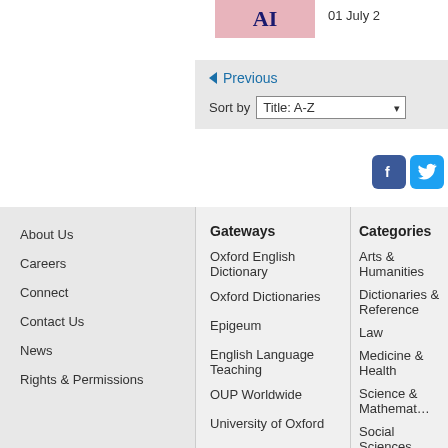[Figure (illustration): Partial book cover showing letters 'AI' on pink/rose background]
01 July 2
◄ Previous
Sort by  Title: A-Z
[Figure (logo): Facebook icon (blue square with white f) and Twitter icon (blue square with white bird)]
About Us
Careers
Connect
Contact Us
News
Rights & Permissions
Gateways
Oxford English Dictionary
Oxford Dictionaries
Epigeum
English Language Teaching
OUP Worldwide
University of Oxford
Categories
Arts & Humanities
Dictionaries & Reference
Law
Medicine & Health
Science & Mathematics
Social Sciences
Journals
Higher Education
Online Resources
Series